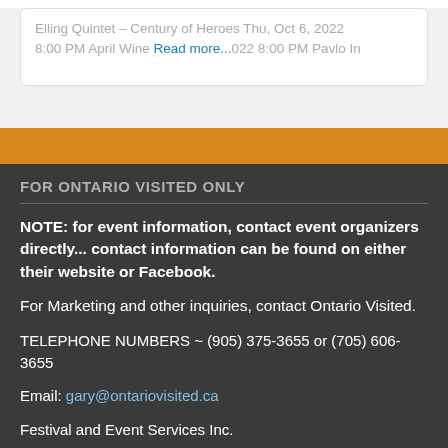Elling Quintet – Century of Heroes Thu, Oct 6, 2022 8:00 PM April Wine Read more... 022 8:00 PM Pavlo In
FOR ONTARIO VISITED ONLY
NOTE: for event information, contact event organizers directly... contact information can be found on either their website or Facebook.
For Marketing and other inquiries, contact Ontario Visited.
TELEPHONE NUMBERS ~ (905) 375-3655 or (705) 606-3655
Email: gary@ontariovisited.ca
Festival and Event Services Inc.